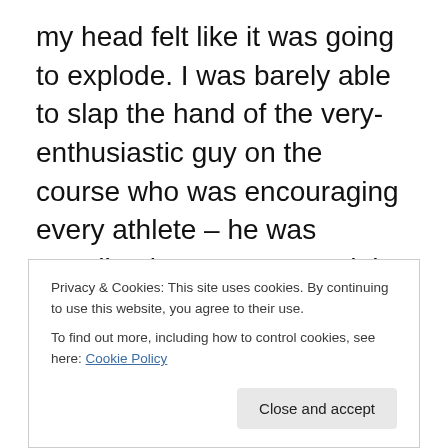my head felt like it was going to explode. I was barely able to slap the hand of the very-enthusiastic guy on the course who was encouraging every athlete – he was standing between me and the aid station and I had a one-track mind. 2 cups of ice down my top and 2 cups of water to drink. I told myself that once I hit that 3 mile mark I would be settled in and ready to race. I felt like I was barely moving but I kept thinking things would shake out. I hit mile 1 at 7:46 – ouch. I told myself I could easily make this up later in the race. I wasn't willing to admit that I was kidding myself.
Privacy & Cookies: This site uses cookies. By continuing to use this website, you agree to their use.
To find out more, including how to control cookies, see here: Cookie Policy